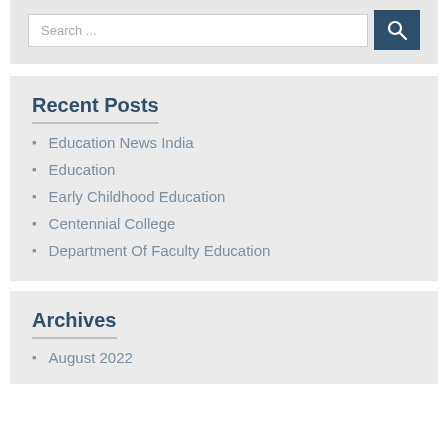Recent Posts
Education News India
Education
Early Childhood Education
Centennial College
Department Of Faculty Education
Archives
August 2022